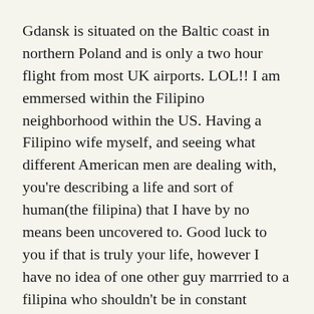Gdansk is situated on the Baltic coast in northern Poland and is only a two hour flight from most UK airports. LOL!! I am emmersed within the Filipino neighborhood within the US. Having a Filipino wife myself, and seeing what different American men are dealing with, you're describing a life and sort of human(the filipina) that I have by no means been uncovered to. Good luck to you if that is truly your life, however I have no idea of one other guy marrried to a filipina who shouldn't be in constant distress.
9. Whereas I might fortunately dwell in many of the locations I've visited in Europe; I feel as if I slot in a lot better. European nations are so diverse, every with their own wealthy tradition, languages, food and strange customs, but I by some means